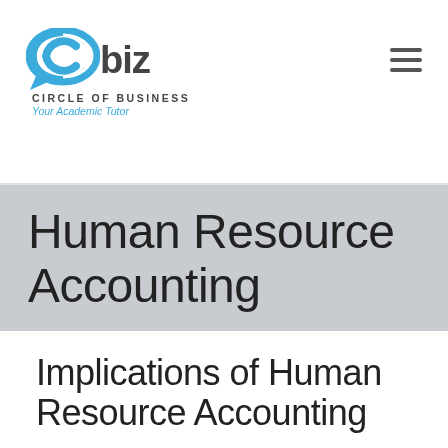Cbiz Circle of Business — Your Academic Tutor
Human Resource Accounting
Implications of Human Resource Accounting
Definition of Human resource accounting